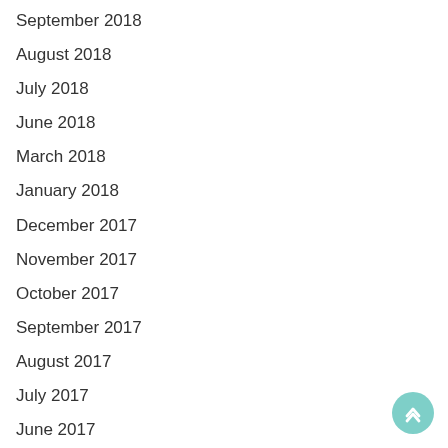September 2018
August 2018
July 2018
June 2018
March 2018
January 2018
December 2017
November 2017
October 2017
September 2017
August 2017
July 2017
June 2017
May 2017